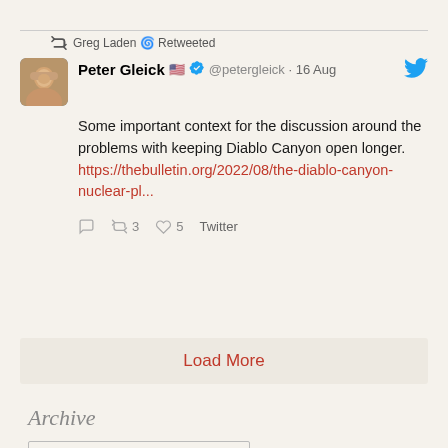Greg Laden 🌀 Retweeted
Peter Gleick 🇺🇸 ✓ @petergleick · 16 Aug
Some important context for the discussion around the problems with keeping Diablo Canyon open longer. https://thebulletin.org/2022/08/the-diablo-canyon-nuclear-pl...
🗨 ↺ 3 ♡ 5 Twitter
Load More
Archive
Select Month